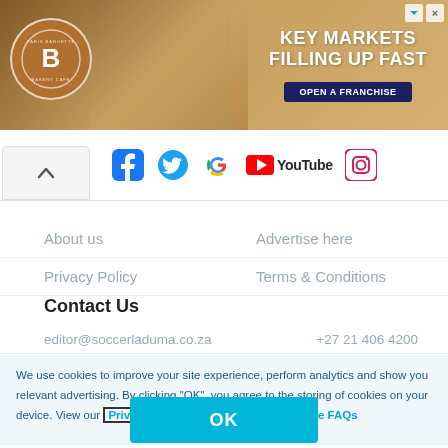[Figure (photo): Advertisement banner for Paris Baguette Bakery Cafe showing a woman with baked goods and text 'KEY MARKETS FILLING UP FAST' with 'OPEN A FRANCHISE' button]
[Figure (infographic): Social media icons row: Facebook, Twitter, Google, YouTube, Instagram with a chevron/collapse button on the left]
About us
Advertise here
Privacy Policy
Terms & Conditions
Contact Us
editor@soccerladuma.co.za    +27 21 406 4200
We use cookies to improve your site experience, perform analytics and show you relevant advertising. By clicking "OK", you agree to the storing of cookies on your device. View our Privacy Portal  Cookie Policy &  Cookie FAQs
OK